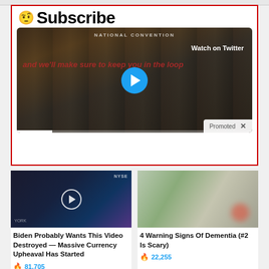[Figure (screenshot): Twitter/social media subscribe prompt with emoji face and red-bordered box containing a video thumbnail of a national convention panel discussion with 'Watch on Twitter' label, overlay text, blue play button, and 'Promoted' label]
Subscribe
and we'll make sure to keep you in the loop
[Figure (screenshot): Sponsored article thumbnail: man in TV studio with play button overlay, NYSE signage visible]
Biden Probably Wants This Video Destroyed — Massive Currency Upheaval Has Started
🔥 81,705
[Figure (screenshot): Sponsored article thumbnail: person clutching chest/hand on chest with reddish glow]
4 Warning Signs Of Dementia (#2 Is Scary)
🔥 22,255